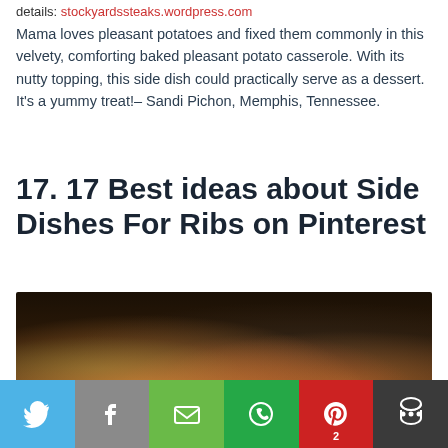details: stockyardssteaks.wordpress.com
Mama loves pleasant potatoes and fixed them commonly in this velvety, comforting baked pleasant potato casserole. With its nutty topping, this side dish could practically serve as a dessert. It's a yummy treat!– Sandi Pichon, Memphis, Tennessee.
17. 17 Best ideas about Side Dishes For Ribs on Pinterest
[Figure (photo): Blurred close-up photo of food (possibly ribs or meat with garnishes) on a dark background]
Twitter | Facebook | Email | WhatsApp | Pinterest 2 | More